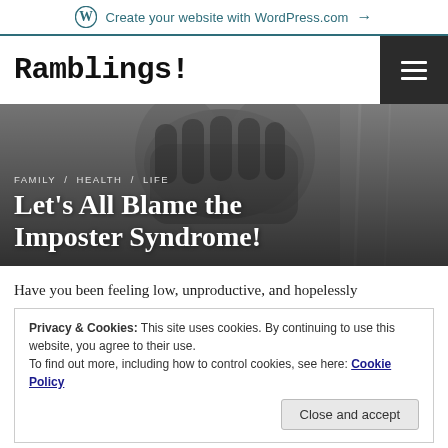Create your website with WordPress.com →
Ramblings!
[Figure (photo): Black and white photo of a person covering their face with their hands, used as hero image background]
FAMILY / HEALTH / LIFE
Let's All Blame the Imposter Syndrome!
Have you been feeling low, unproductive, and hopelessly
Privacy & Cookies: This site uses cookies. By continuing to use this website, you agree to their use.
To find out more, including how to control cookies, see here: Cookie Policy
Close and accept
told Mr B that I was feeling very very useless, hopeless, and